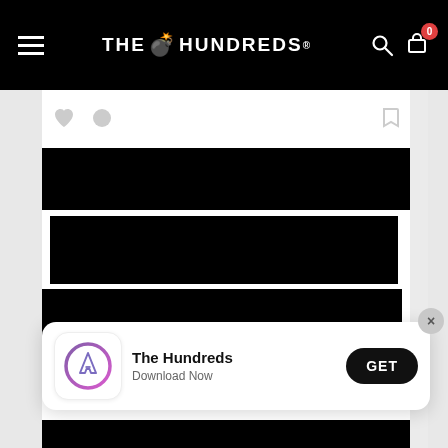THE HUNDREDS
[Figure (screenshot): Website screenshot showing The Hundreds brand site with black navigation bar containing hamburger menu, logo, search and cart icons. Below are redacted black bars covering article content. An app download banner appears at the bottom showing The Hundreds app with GET button.]
The Hundreds
Download Now
GET